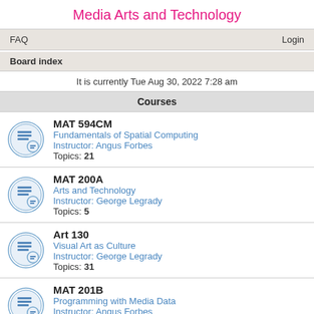Media Arts and Technology
FAQ   Login
Board index
It is currently Tue Aug 30, 2022 7:28 am
Courses
MAT 594CM
Fundamentals of Spatial Computing
Instructor: Angus Forbes
Topics: 21
MAT 200A
Arts and Technology
Instructor: George Legrady
Topics: 5
Art 130
Visual Art as Culture
Instructor: George Legrady
Topics: 31
MAT 201B
Programming with Media Data
Instructor: Angus Forbes
Topics: 25
MAT 259